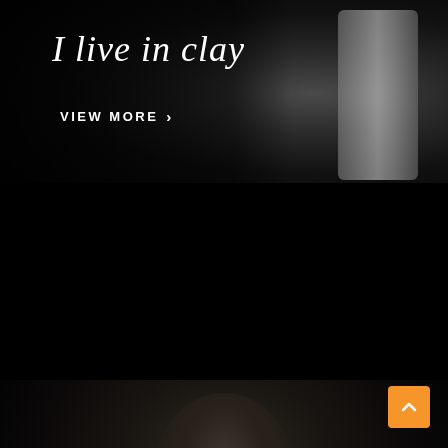[Figure (photo): Black and white photograph of pottery/clay spinning on a wheel, with dark cinematic background. The right side shows a cylindrical clay form being shaped.]
I live in clay
VIEW MORE  ›
[Figure (photo): Black and white portrait photograph of a man wearing glasses and a cap, hands clasped together near his face, set against a very dark background.]
[Figure (other): Orange back-to-top button with upward chevron arrow, positioned at bottom right corner.]